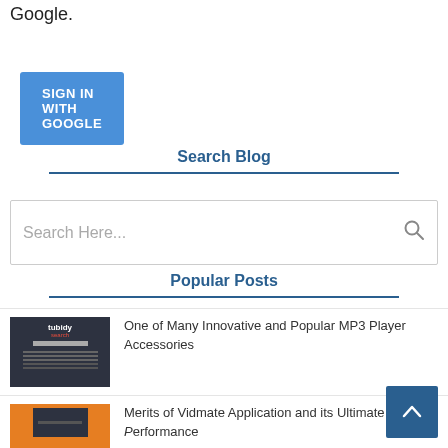Google.
[Figure (other): Blue 'SIGN IN WITH GOOGLE' button]
Search Blog
[Figure (other): Search input box with placeholder 'Search Here...' and search icon]
Popular Posts
[Figure (screenshot): Thumbnail image of dark-themed blog post about Tubidy MP3 search engine]
One of Many Innovative and Popular MP3 Player Accessories
[Figure (screenshot): Thumbnail image with orange background for Vidmate article]
Merits of Vidmate Application and its Ultimate Performance